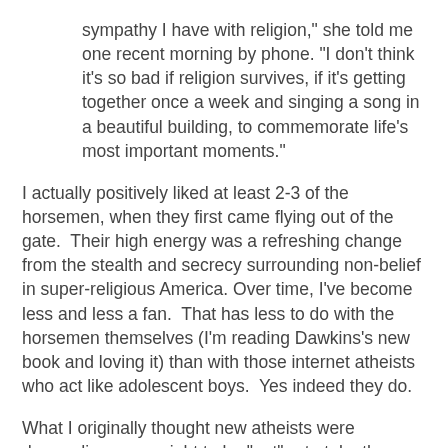sympathy I have with religion," she told me one recent morning by phone. "I don't think it's so bad if religion survives, if it's getting together once a week and singing a song in a beautiful building, to commemorate life's most important moments."
I actually positively liked at least 2-3 of the horsemen, when they first came flying out of the gate.  Their high energy was a refreshing change from the stealth and secrecy surrounding non-belief in super-religious America. Over time, I've become less and less a fan.  That has less to do with the horsemen themselves (I'm reading Dawkins's new book and loving it) than with those internet atheists who act like adolescent boys.  Yes indeed they do.
What I originally thought new atheists were demanding was a right to be "out" -- to take the position that there's no God and state reasons for that view, without being stigmatized for it.  What has developed is much more than that.  At least the internet atheists think coming out means coming out and saying that religion is horribly stupid.  I fail to understand why these folks don't see any conflict between demanding